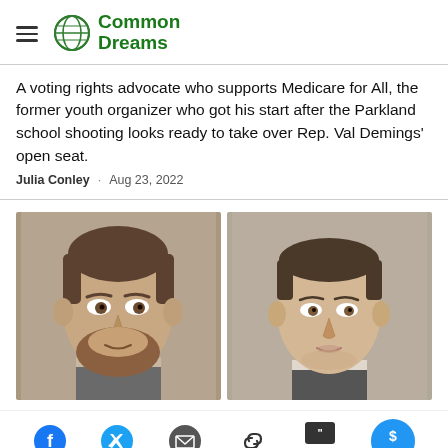Common Dreams
A voting rights advocate who supports Medicare for All, the former youth organizer who got his start after the Parkland school shooting looks ready to take over Rep. Val Demings' open seat.
Julia Conley · Aug 23, 2022
[Figure (photo): Two mugshot-style photographs side by side: left photo shows a middle-aged man with a beard and receding hairline; right photo shows a younger man with short dark hair, both against neutral backgrounds.]
Social share icons: Facebook, Twitter, Email, Link, Comments (24), Give